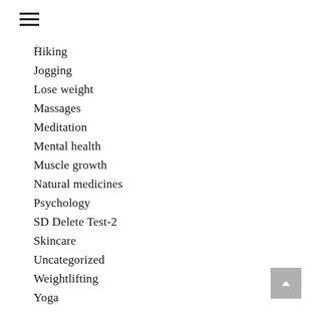Hiking
Jogging
Lose weight
Massages
Meditation
Mental health
Muscle growth
Natural medicines
Psychology
SD Delete Test-2
Skincare
Uncategorized
Weightlifting
Yoga